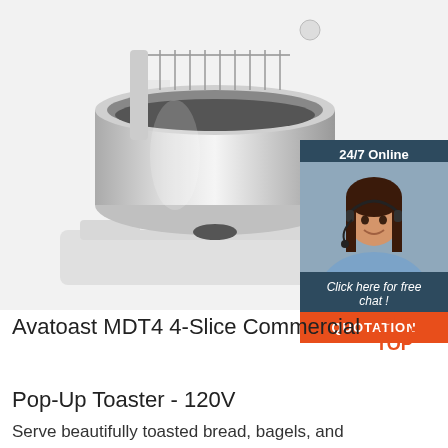[Figure (photo): Commercial spiral dough mixer with stainless steel bowl, white body, photographed on white background]
[Figure (infographic): 24/7 online chat widget with woman wearing headset, 'Click here for free chat!' text and orange QUOTATION button]
Avatoast MDT4 4-Slice Commercial Pop-Up Toaster - 120V
Serve beautifully toasted bread, bagels, and